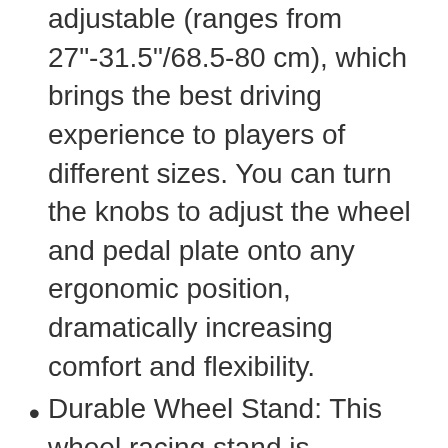adjustable (ranges from 27"-31.5"/68.5-80 cm), which brings the best driving experience to players of different sizes. You can turn the knobs to adjust the wheel and pedal plate onto any ergonomic position, dramatically increasing comfort and flexibility.
Durable Wheel Stand: This wheel racing stand is constructed with high-strength carbon steel, providing maximum stability and sturdiness for long time use. Such a heavy-duty bracket will not move or